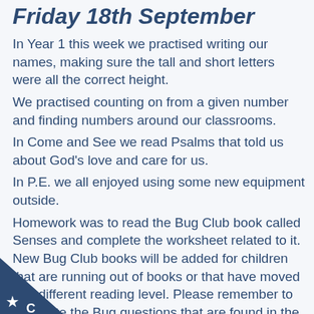Friday 18th September
In Year 1 this week we practised writing our names, making sure the tall and short letters were all the correct height.
We practised counting on from a given number and finding numbers around our classrooms.
In Come and See we read Psalms that told us about God's love and care for us.
In P.E. we all enjoyed using some new equipment outside.
Homework was to read the Bug Club book called Senses and complete the worksheet related to it. New Bug Club books will be added for children that are running out of books or that have moved to a different reading level. Please remember to complete the Bug questions that are found in the